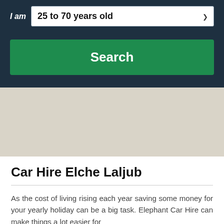I am 25 to 70 years old
[Figure (screenshot): Green Search button on dark navy background]
[Figure (other): Beige/tan advertisement placeholder area]
Car Hire Elche Laljub
As the cost of living rising each year saving some money for your yearly holiday can be a big task. Elephant Car Hire can make things a lot easier for